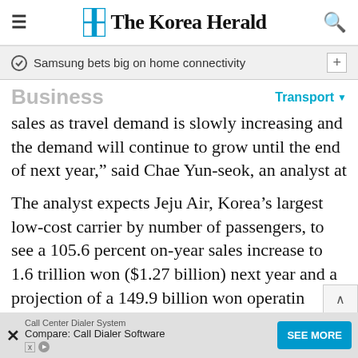The Korea Herald
Samsung bets big on home connectivity
Business
sales as travel demand is slowly increasing and the demand will continue to grow until the end of next year,” said Chae Yun-seok, an analyst at IBK Investment & Securities.
The analyst expects Jeju Air, Korea’s largest low-cost carrier by number of passengers, to see a 105.6 percent on-year sales increase to 1.6 trillion won ($1.27 billion) next year and a projection of a 149.9 billion won operatin…
Call Center Dialer System Compare: Call Dialer Software SEE MORE